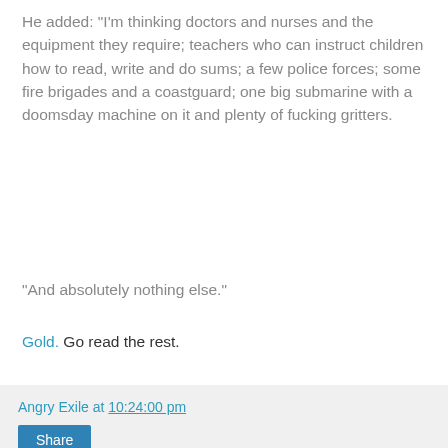He added: "I'm thinking doctors and nurses and the equipment they require; teachers who can instruct children how to read, write and do sums; a few police forces; some fire brigades and a coastguard; one big submarine with a doomsday machine on it and plenty of fucking gritters.
"And absolutely nothing else."
Gold. Go read the rest.
Angry Exile at 10:24:00 pm
Share
Some housekeeping.
Some while back I added some pages for a comments policy, contact form, the blogroll, inactive blogs, and MSM buttons and other sites along with some buttons at the top of the page to get you there and back. The pages for links to